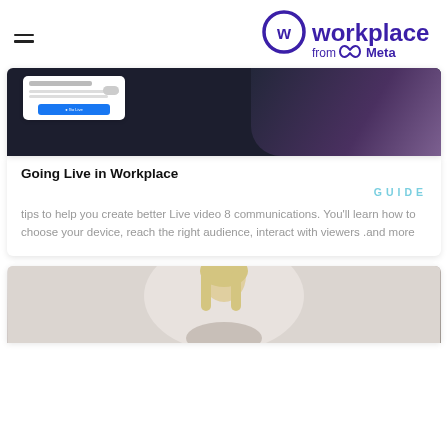Workplace from Meta
[Figure (screenshot): Screenshot of a Workplace Live video interface with a Go Live button and dark background]
Going Live in Workplace
GUIDE
tips to help you create better Live video 8 communications. You'll learn how to choose your device, reach the right audience, interact with viewers .and more
[Figure (photo): Photo of a blonde woman, bottom of page]